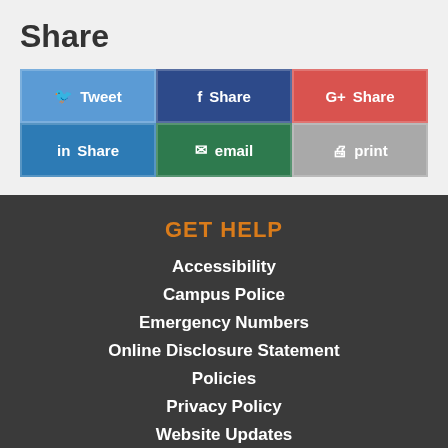Share
| Tweet | Share | Share |
| Share | email | print |
GET HELP
Accessibility
Campus Police
Emergency Numbers
Online Disclosure Statement
Policies
Privacy Policy
Website Updates
Update Password